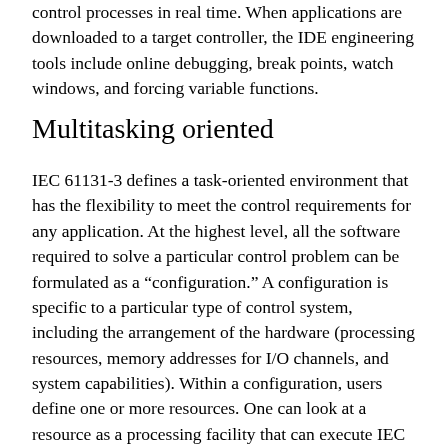control processes in real time. When applications are downloaded to a target controller, the IDE engineering tools include online debugging, break points, watch windows, and forcing variable functions.
Multitasking oriented
IEC 61131-3 defines a task-oriented environment that has the flexibility to meet the control requirements for any application. At the highest level, all the software required to solve a particular control problem can be formulated as a “configuration.” A configuration is specific to a particular type of control system, including the arrangement of the hardware (processing resources, memory addresses for I/O channels, and system capabilities). Within a configuration, users define one or more resources. One can look at a resource as a processing facility that can execute IEC programs. Within a resource, one or more tasks can be defined. Tasks control the execution of a set of programs or function blocks. These can be executed either periodically or upon the occurrence of a specified trigger, such as the change of a variable. Programs